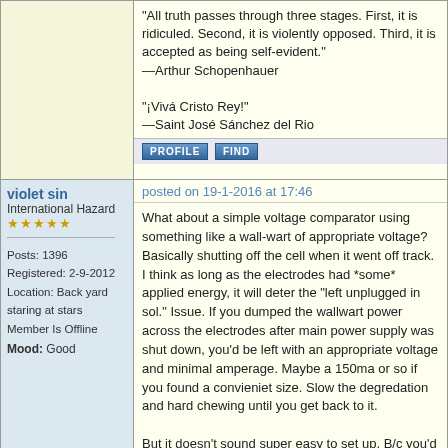"All truth passes through three stages. First, it is ridiculed. Second, it is violently opposed. Third, it is accepted as being self-evident." —Arthur Schopenhauer

"¡Vivá Cristo Rey!" —Saint José Sánchez del Rio
PROFILE  FIND
violet sin
International Hazard
★★★★★
Posts: 1396
Registered: 2-9-2012
Location: Back yard staring at stars
Member Is Offline
Mood: Good
posted on 19-1-2016 at 17:46
What about a simple voltage comparator using something like a wall-wart of appropriate voltage?
Basically shutting off the cell when it went off track. I think as long as the electrodes had *some* applied energy, it will deter the "left unplugged in sol." Issue. If you dumped the wallwart power across the electrodes after main power supply was shut down, you'd be left with an appropriate voltage and minimal amperage. Maybe a 150ma or so if you found a convieniet size. Slow the degredation and hard chewing until you get back to it.

But it doesn't sound super easy to set up. B/c you'd need some flip-flop switching. Once main PSU is triggered off, you then have to reroute your set voltage supply to cover electrodes. Honestly there are WAY WAY smarter electronics guys around. I only learn what I have to in order to complete a project. (If only it was like the matrix... Downloading.. ... ... Brilliant)